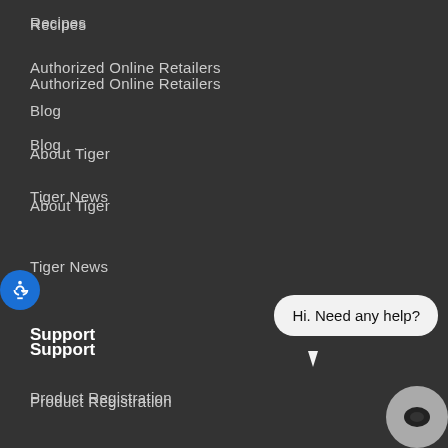Recipes
Authorized Online Retailers
Blog
About Tiger
Tiger News
Support
Product Registration
Frequently Asked Questions
Instruction Manuals
Contact Us
[Figure (screenshot): Chat widget bubble saying 'Hi. Need any help?' with a chat bot icon in the bottom right corner]